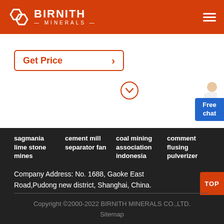BIRNITH MINERALS
[Figure (logo): Birnith Minerals logo with orange background, white hexagonal icon and BIRNITH MINERALS text]
Get Price →
[Figure (illustration): Orange circle with downward chevron arrow icon]
[Figure (photo): Customer service woman figure pointing right, with Free chat blue button]
sagmania lime stone mines
cement mill separator fan
coal mining association indonesia
comment flusing pulverizer
Company Address: No. 1688, Gaoke East Road,Pudong new district, Shanghai, China.
Copyright ©2000-2022 BIRNITH MINERALS CO.,LTD.
Sitemap